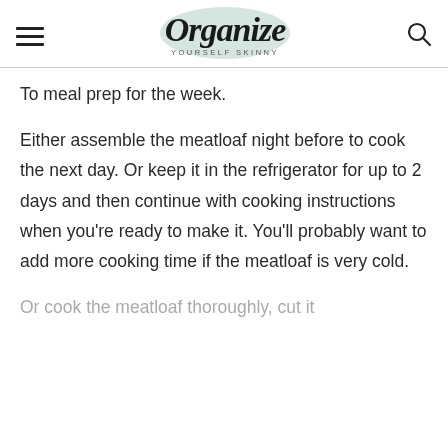Organize Yourself Skinny
To meal prep for the week.
Either assemble the meatloaf night before to cook the next day. Or keep it in the refrigerator for up to 2 days and then continue with cooking instructions when you're ready to make it. You'll probably want to add more cooking time if the meatloaf is very cold.
Or cook the meatloaf thoroughly, cut it